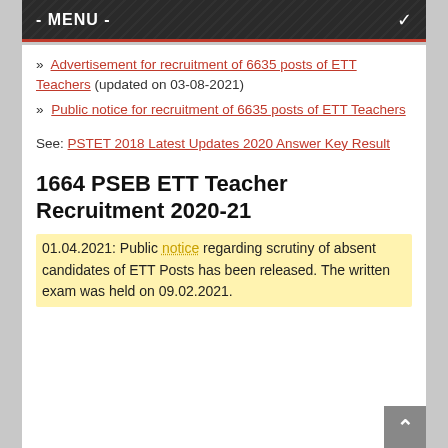- MENU -
» Advertisement for recruitment of 6635 posts of ETT Teachers (updated on 03-08-2021)
» Public notice for recruitment of 6635 posts of ETT Teachers
See: PSTET 2018 Latest Updates 2020 Answer Key Result
1664 PSEB ETT Teacher Recruitment 2020-21
01.04.2021: Public notice regarding scrutiny of absent candidates of ETT Posts has been released. The written exam was held on 09.02.2021.